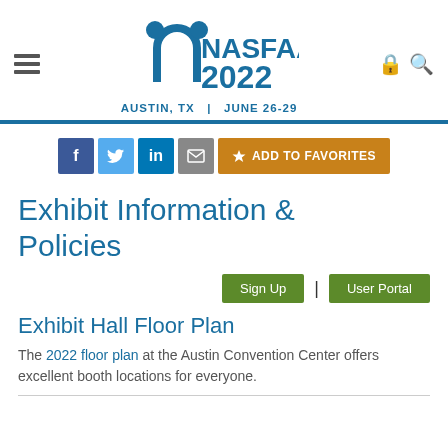[Figure (logo): NASFAA 2022 conference logo with arch/person icon, text NASFAA 2022, AUSTIN, TX | JUNE 26-29, hamburger menu icon, lock and search icons]
[Figure (infographic): Social share buttons: Facebook (dark blue f), Twitter (light blue bird), LinkedIn (blue in), Email (gray envelope), and orange ADD TO FAVORITES star button]
Exhibit Information & Policies
[Figure (infographic): Two green buttons: Sign Up and User Portal, separated by a pipe character]
Exhibit Hall Floor Plan
The 2022 floor plan at the Austin Convention Center offers excellent booth locations for everyone.